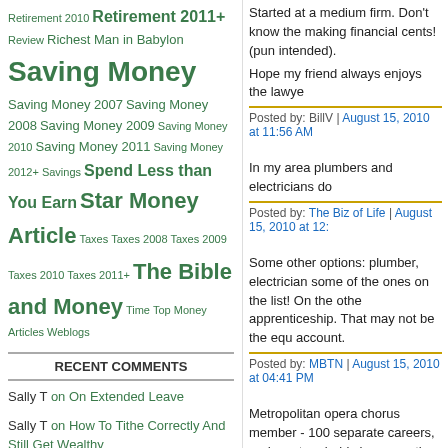Retirement 2010 Retirement 2011+ Review Richest Man in Babylon Saving Money Saving Money 2007 Saving Money 2008 Saving Money 2009 Saving Money 2010 Saving Money 2011 Saving Money 2012+ Savings Spend Less than You Earn Star Money Article Taxes Taxes 2008 Taxes 2009 Taxes 2010 Taxes 2011+ The Bible and Money Time Top Money Articles Weblogs
RECENT COMMENTS
Sally T on On Extended Leave
Sally T on How To Tithe Correctly And Still Get Wealthy
Sally on Six Reasons Why You Shouldn't Take FIRE Too Far
Sally T on Robo-Advisors vs Online Brokers
digital marketing on 5 Things Business Owners Can Learn From the FIRE Movement
Started at a medium firm. Don't know the making financial cents! (pun intended).
Hope my friend always enjoys the lawye
Posted by: BillV | August 15, 2010 at 11:56 AM
In my area plumbers and electricians do
Posted by: The Biz of Life | August 15, 2010 at 12:
Some other options: plumber, electrician some of the ones on the list! On the othe apprenticeship. That may not be the equ account.
Posted by: MBTN | August 15, 2010 at 04:41 PM
Metropolitan opera chorus member - 100 separate careers, and most probably hav pass the auditions and compete with a th have had spent a lot for voice lessons, th